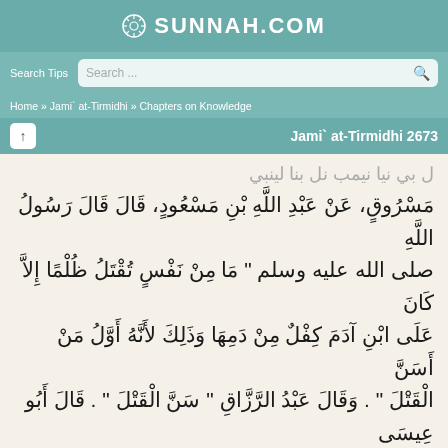SUNNAH.COM
Search Tips  Search ...
Home » Jami` at-Tirmidhi » Chapters on Knowledge
Jami` at-Tirmidhi 2673
مَسْرُوقٍ، عَنْ عَبْدِ اللَّهِ بْنِ مَسْعُودٍ، قَالَ قَالَ رَسُولُ اللَّهِ صلى الله عليه وسلم " مَا مِنْ نَفْسٍ تُقْتَلُ ظُلْمًا إِلاَّ كَانَ عَلَى ابْنِ آدَمَ كِفْلٌ مِنْ دَمِهَا وَذَلِكَ لأَنَّهُ أَوَّلُ مَنْ أَسَنَّ الْقَتْلَ " . وَقَالَ عَبْدُ الرَّزَّاقِ " سَنَّ الْقَتْلَ " . قَالَ أَبُو عِيسَى هَذَا حَدِيثٌ حَسَنٌ صَحِيحٌ .
حَدَّثَنَا ابْنُ أَبِي عُمَرَ، حَدَّثَنَا سُفْيَانُ بْنُ عُيَيْنَةَ، عَنْ